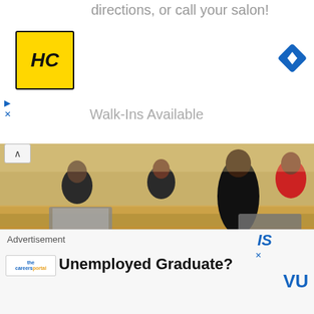directions, or call your salon!
[Figure (logo): HC logo — yellow square with HC letters, black border]
[Figure (logo): Blue navigation diamond/arrow icon]
Walk-Ins Available
[Figure (photo): Lecture hall scene: instructor in black facing students seated at wooden desks with laptops]
With 50 Technical Vocational Education and Training colleges located across the country, studying at a TVET college is definitely worth considering.
Continue Reading
Advertisement
IS
[Figure (logo): Careers portal logo — small circular logo with text]
Unemployed Graduate?
VU